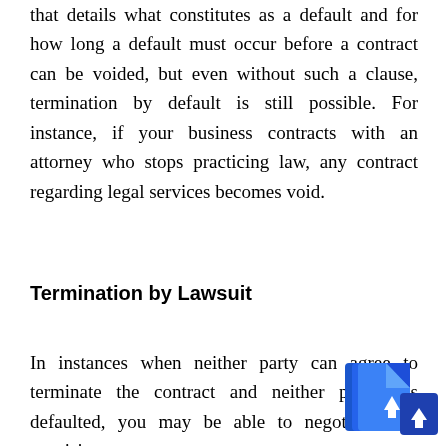that details what constitutes as a default and for how long a default must occur before a contract can be voided, but even without such a clause, termination by default is still possible. For instance, if your business contracts with an attorney who stops practicing law, any contract regarding legal services becomes void.
Termination by Lawsuit
In instances when neither party can agree to terminate the contract and neither party has defaulted, you may be able to negotiate new provisions